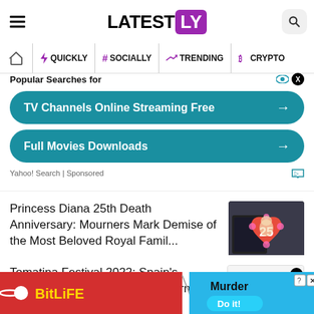LATEST LY
QUICKLY | # SOCIALLY | TRENDING | CRYPTO
[Figure (screenshot): Advertisement: Popular Searches for TV Channels Online Streaming Free and Full Movies Downloads - Yahoo! Search Sponsored]
Princess Diana 25th Death Anniversary: Mourners Mark Demise of the Most Beloved Royal Famil...
[Figure (photo): Photo related to Princess Diana 25th death anniversary showing a heart-shaped floral tribute with number 25]
Tomatina Festival 2022: Spain's Famous Tomato Fight Fest Returns After Two Years Since...
[Figure (screenshot): Advertisement placeholder with Latestly logo circle]
[Figure (screenshot): BitLife advertisement - Murder Do it!]